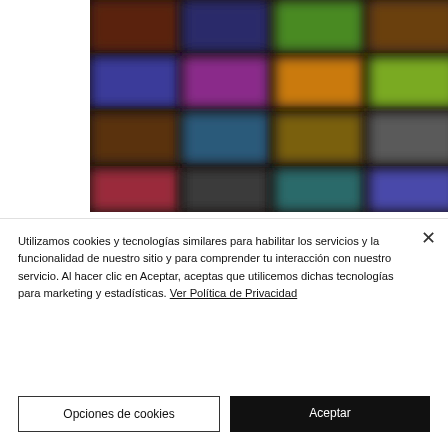[Figure (photo): Blurred screenshot of a grid of colorful app icons or game thumbnails arranged in rows on a dark background.]
Utilizamos cookies y tecnologías similares para habilitar los servicios y la funcionalidad de nuestro sitio y para comprender tu interacción con nuestro servicio. Al hacer clic en Aceptar, aceptas que utilicemos dichas tecnologías para marketing y estadísticas. Ver Política de Privacidad
Opciones de cookies
Aceptar